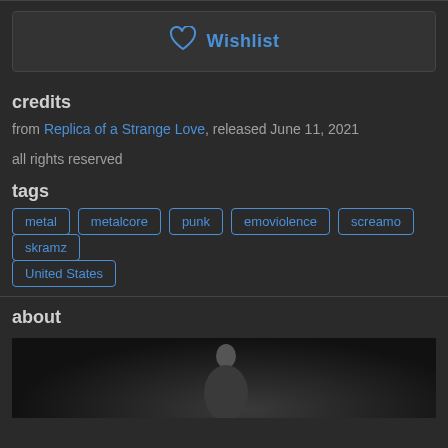[Figure (other): Wishlist button with heart icon]
credits
from Replica of a Strange Love, released June 11, 2021
all rights reserved
tags
metal
metalcore
punk
emoviolence
screamo
skramz
United States
about
[Figure (photo): Dark photo of a person, partially visible, dark background]